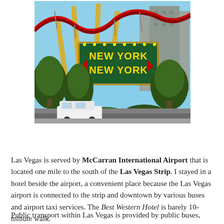[Figure (photo): Exterior photo of New York New York Hotel and Casino in Las Vegas, showing the large signage reading 'New York New York' with roller coaster tracks above, trees in the foreground, and a parked white vehicle.]
Las Vegas is served by McCarran International Airport that is located one mile to the south of the Las Vegas Strip. I stayed in a hotel beside the airport, a convenient place because the Las Vegas airport is connected to the strip and downtown by various buses and airport taxi services. The Best Western Hotel is barely 10-minute walk.
Public transport within Las Vegas is provided by public buses, private trolley services, taxicabs, monorail links and